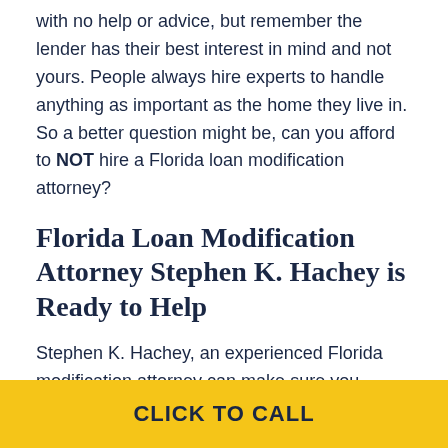with no help or advice, but remember the lender has their best interest in mind and not yours. People always hire experts to handle anything as important as the home they live in. So a better question might be, can you afford to NOT hire a Florida loan modification attorney?
Florida Loan Modification Attorney Stephen K. Hachey is Ready to Help
Stephen K. Hachey, an experienced Florida modification attorney can make sure you understand exactly what is going on, and ensure you are not taken advantage of. And with offices spread out through West and Central Florida, he's available and accessible to begin working with you. The Law Offices of Stephen K. Hachey proudly serves Tampa, St Petersburg
CLICK TO CALL